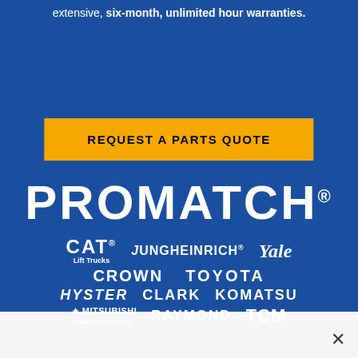extensive, six-month, unlimited hour warranties.
REQUEST A PARTS QUOTE
[Figure (logo): PROMATCH logo in large white bold text on blue background with registered trademark symbol]
[Figure (logo): Grid of forklift brand logos: CAT Lift Trucks, Jungheinrich, Yale, Crown, Toyota, Hyster, Clark, Komatsu, Mitsubishi Forklift Trucks, Raymond, TCM — all in white on blue background]